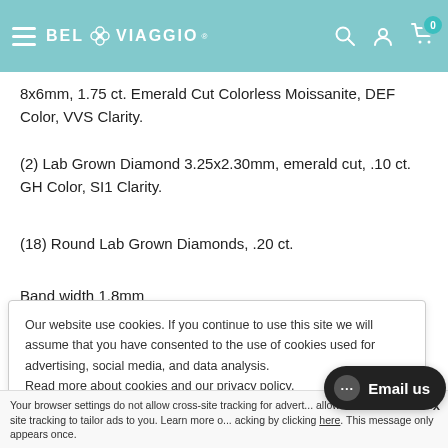BEL VIAGGIO (navigation header with logo, search, account, and cart icons)
8x6mm, 1.75 ct. Emerald Cut Colorless Moissanite, DEF Color, VVS Clarity.
(2) Lab Grown Diamond 3.25x2.30mm, emerald cut, .10 ct. GH Color, SI1 Clarity.
(18) Round Lab Grown Diamonds, .20 ct.
Band width 1.8mm
Our website use cookies. If you continue to use this site we will assume that you have consented to the use of cookies used for advertising, social media, and data analysis. Read more about cookies and our privacy policy. https://belviaggiodesigns.com/pages/privacy-policy
Your browser settings do not allow cross-site tracking for advertising. This prevents AdRoll to use cross-site tracking to tailor ads to you. Learn more about cross-site tracking by clicking here. This message only appears once.